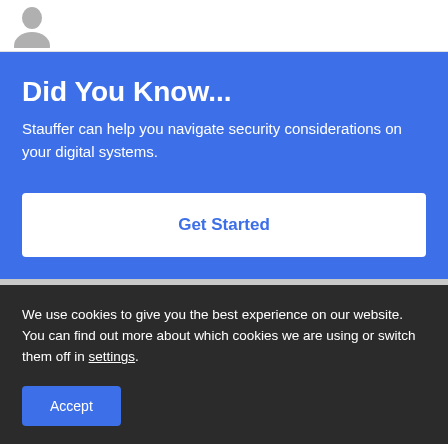[Figure (illustration): Partial view of a grey default user avatar icon (person silhouette) at the top of the page on a white background]
Did You Know...
Stauffer can help you navigate security considerations on your digital systems.
Get Started
We use cookies to give you the best experience on our website. You can find out more about which cookies we are using or switch them off in settings.
Accept